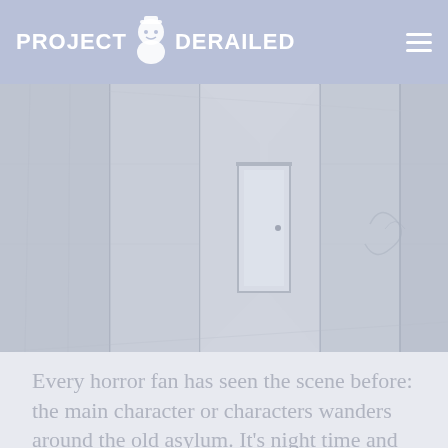PROJECT DERAILED
[Figure (photo): A dimly lit, abandoned asylum hallway with wooden paneled walls and peeling surfaces. The corridor stretches into the distance with a door visible at the end. Faded graffiti marks the right wall. The image has a washed-out, grayish tone.]
Every horror fan has seen the scene before: the main character or characters wanders around the old asylum. It's night time and the building has long since been abandoned, but they're on the search for clues. Maybe they'll